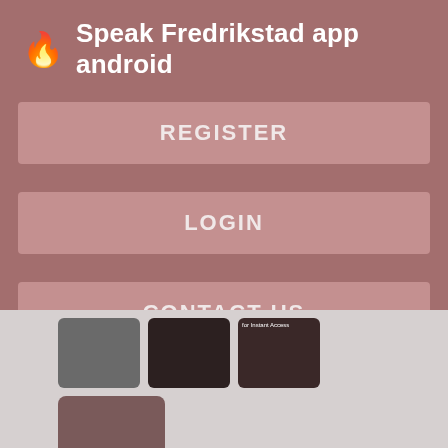🔥 Speak Fredrikstad app android
REGISTER
LOGIN
CONTACT US
[Figure (screenshot): Thumbnail images in a grid layout below the navigation menu, including a gray placeholder thumbnail and images with 'Register NOW for Instant Access' text overlay]